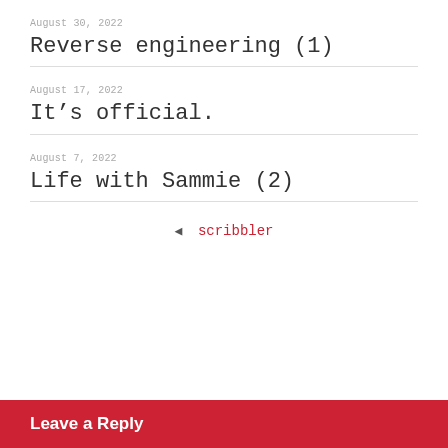August 30, 2022
Reverse engineering (1)
August 17, 2022
It’s official.
August 7, 2022
Life with Sammie (2)
◄  scribbler
Leave a Reply